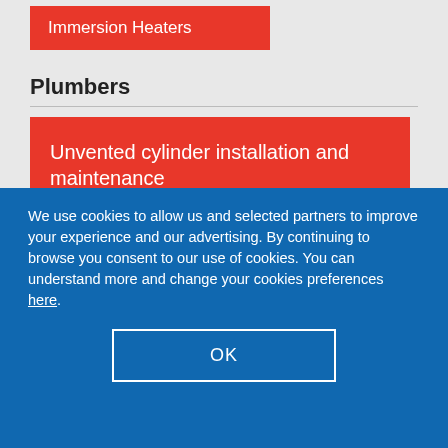Immersion Heaters
Plumbers
Unvented cylinder installation and maintenance
Fireplace and stove installers
We use cookies to allow us and selected partners to improve your experience and our advertising. By continuing to browse you consent to our use of cookies. You can understand more and change your cookies preferences here.
OK